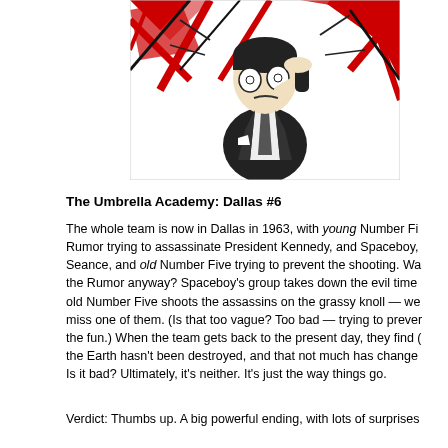[Figure (illustration): Black and white comic book style illustration of a young man in a suit saluting, with dramatic red and black slash marks in the background suggesting action or explosion.]
The Umbrella Academy: Dallas #6
The whole team is now in Dallas in 1963, with young Number Five, Rumor trying to assassinate President Kennedy, and Spaceboy, Seance, and old Number Five trying to prevent the shooting. Wa the Rumor anyway? Spaceboy's group takes down the evil time old Number Five shoots the assassins on the grassy knoll — we miss one of them. (Is that too vague? Too bad — trying to preve the fun.) When the team gets back to the present day, they find the Earth hasn't been destroyed, and that not much has change Is it bad? Ultimately, it's neither. It's just the way things go.
Verdict: Thumbs up. A big powerful ending, with lots of surprises